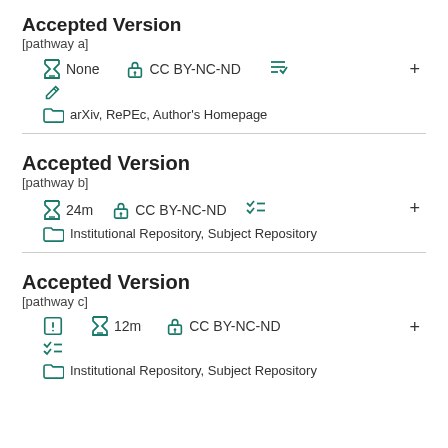Accepted Version [pathway a]
None  CC BY-NC-ND  [list icon]  +  [edit icon]  arXiv, RePEc, Author's Homepage
Accepted Version [pathway b]
24m  CC BY-NC-ND  [list icon]  +  Institutional Repository, Subject Repository
Accepted Version [pathway c]
[alert icon]  12m  CC BY-NC-ND  +  [checklist icon]  Institutional Repository, Subject Repository